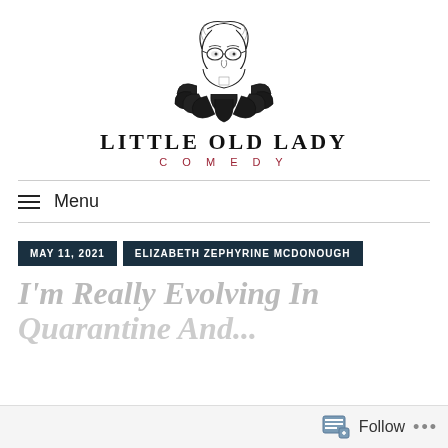[Figure (logo): Cartoon illustration of a little old lady with white hair, glasses, and a feathered boa collar, black and white line drawing.]
Little Old Lady Comedy
MAY 11, 2021   ELIZABETH ZEPHYRINE MCDONOUGH
I'm Really Evolving In Quarantine And...